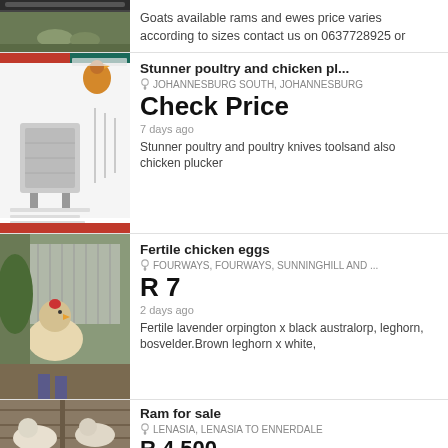Goats available rams and ewes price varies according to sizes contact us on 0637728925 or
Stunner poultry and chicken pl...
JOHANNESBURG SOUTH, JOHANNESBURG
Check Price
7 days ago
Stunner poultry and poultry knives toolsand also chicken plucker
Fertile chicken eggs
FOURWAYS, FOURWAYS, SUNNINGHILL AND ...
R 7
2 days ago
Fertile lavender orpington x black australorp, leghorn, bosvelder.Brown leghorn x white,
Ram for sale
LENASIA, LENASIA TO ENNERDALE
R 4 500